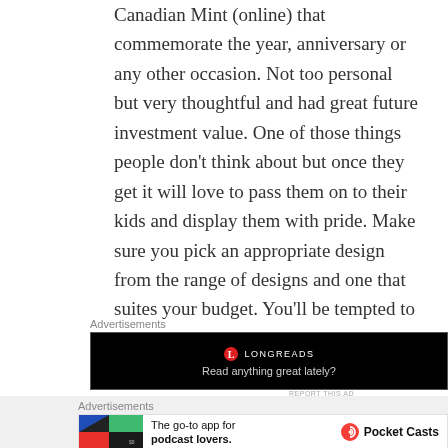Canadian Mint (online) that commemorate the year, anniversary or any other occasion. Not too personal but very thoughtful and had great future investment value. One of those things people don't think about but once they get it will love to pass them on to their kids and display them with pride. Make sure you pick an appropriate design from the range of designs and one that suites your budget. You'll be tempted to go overboard.
Advertisements
[Figure (screenshot): Longreads advertisement banner on black background with logo and tagline 'Read anything great lately?']
Advertisements
[Figure (screenshot): Pocket Casts advertisement: 'The go-to app for podcast lovers.' with Pocket Casts logo]